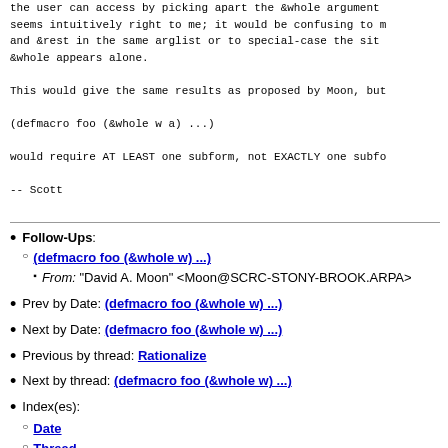the user can access by picking apart the &whole argument seems intuitively right to me; it would be confusing to mix and &rest in the same arglist or to special-case the situation when &whole appears alone.
This would give the same results as proposed by Moon, but
(defmacro foo (&whole w a) ...)
would require AT LEAST one subform, not EXACTLY one subfo
-- Scott
Follow-Ups: (defmacro foo (&whole w) ...) From: "David A. Moon" <Moon@SCRC-STONY-BROOK.ARPA>
Prev by Date: (defmacro foo (&whole w) ...)
Next by Date: (defmacro foo (&whole w) ...)
Previous by thread: Rationalize
Next by thread: (defmacro foo (&whole w) ...)
Index(es): Date Thread